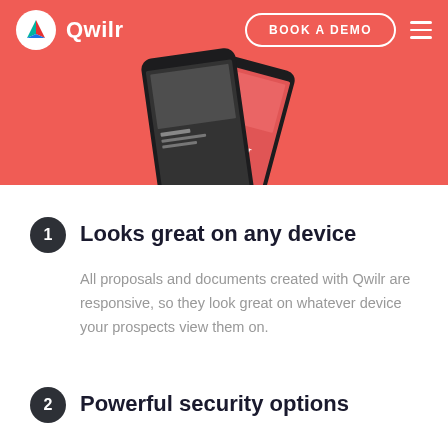[Figure (screenshot): Qwilr website hero banner showing coral/red background with two mobile phone devices displaying a proposal document. Navigation bar with Qwilr logo, BOOK A DEMO button, and hamburger menu.]
Looks great on any device
All proposals and documents created with Qwilr are responsive, so they look great on whatever device your prospects view them on.
Powerful security options